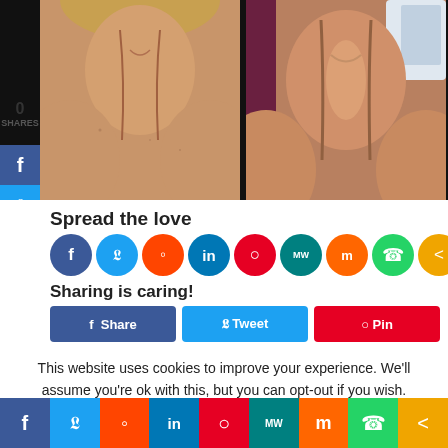[Figure (photo): Two side-by-side before/after photos of a person's neck area on a dark background, with social media share sidebar on the left showing 0 shares]
Spread the love
[Figure (infographic): Row of social sharing icon circles: Facebook, Twitter, Reddit, LinkedIn, Pinterest, MeWe, Mix, WhatsApp, Share]
Sharing is caring!
[Figure (infographic): Share buttons row: Share (Facebook), Tweet, Pin it (partially visible)]
This website uses cookies to improve your experience. We'll assume you're ok with this, but you can opt-out if you wish.
[Figure (infographic): Bottom social media bar with icons: Facebook, Twitter, Reddit, LinkedIn, Pinterest, MeWe, Mix, WhatsApp, Share]